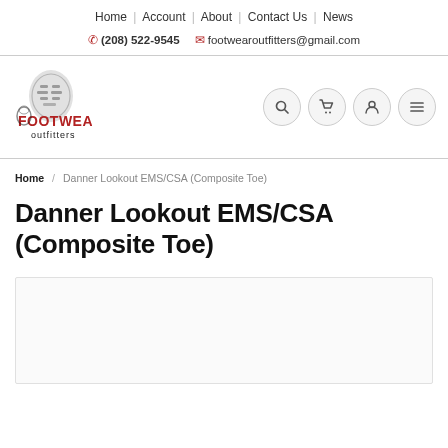Home | Account | About | Contact Us | News
(208) 522-9545   footwearoutfitters@gmail.com
[Figure (logo): Footwear Outfitters logo with boot print and red text]
breadcrumb navigation icons: search, cart, account, menu
Home / Danner Lookout EMS/CSA (Composite Toe)
Danner Lookout EMS/CSA (Composite Toe)